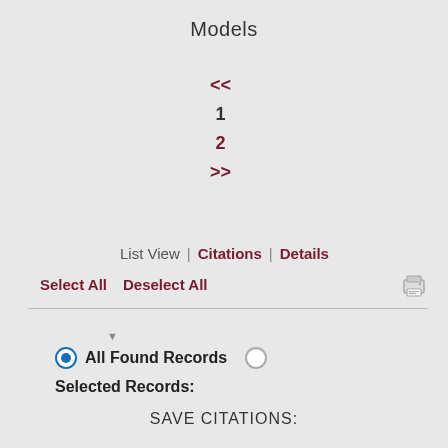Models
<<
1
2
List View | Citations | Details
>> Select All  Deselect All
▼
● All Found Records  ○
Selected Records:
SAVE CITATIONS:
RTF
Cite
EXPORT RECORDS: